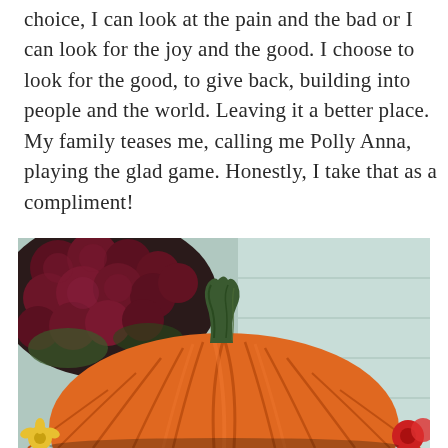choice, I can look at the pain and the bad or I can look for the joy and the good. I choose to look for the good, to give back, building into people and the world. Leaving it a better place. My family teases me, calling me Polly Anna, playing the glad game. Honestly, I take that as a compliment!
[Figure (photo): A large orange pumpkin with a dark green ridged stem in the foreground, with dark red/maroon chrysanthemum flowers on the left, a light blue/grey house siding panel in the upper right, and a small yellow flower and red flowers at the lower edges.]